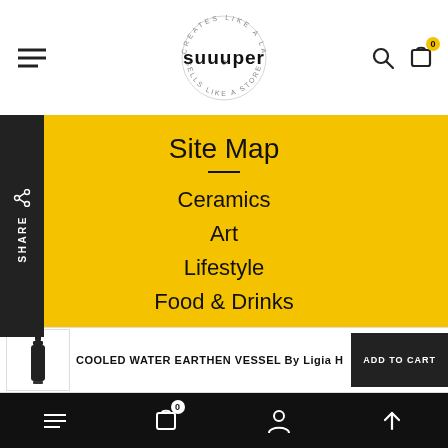[Figure (logo): Suuuper brand logo with circular text 'Creates Like a Lab · Sells Like a Store' and bold wordmark 'suuuper']
Site Map
Ceramics
Art
Lifestyle
Food & Drinks
Services
COOLED WATER EARTHEN VESSEL By Ligia H
ADD TO CART